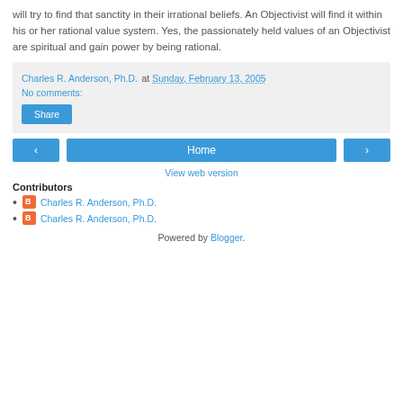will try to find that sanctity in their irrational beliefs. An Objectivist will find it within his or her rational value system. Yes, the passionately held values of an Objectivist are spiritual and gain power by being rational.
Charles R. Anderson, Ph.D. at Sunday, February 13, 2005
No comments:
Share
‹  Home  ›
View web version
Contributors
Charles R. Anderson, Ph.D.
Charles R. Anderson, Ph.D.
Powered by Blogger.